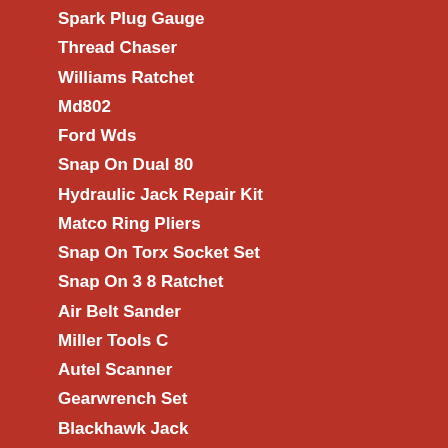Spark Plug Gauge
Thread Chaser
Williams Ratchet
Md802
Ford Wds
Snap On Dual 80
Hydraulic Jack Repair Kit
Matco Ring Pliers
Snap On Torx Socket Set
Snap On 3 8 Ratchet
Air Belt Sander
Miller Tools C
Autel Scanner
Gearwrench Set
Blackhawk Jack
Hydraulic Shop Press
Devilbiss Gfg
Jack And Stands